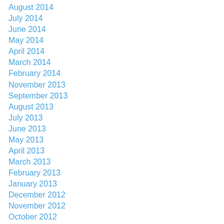August 2014
July 2014
June 2014
May 2014
April 2014
March 2014
February 2014
November 2013
September 2013
August 2013
July 2013
June 2013
May 2013
April 2013
March 2013
February 2013
January 2013
December 2012
November 2012
October 2012